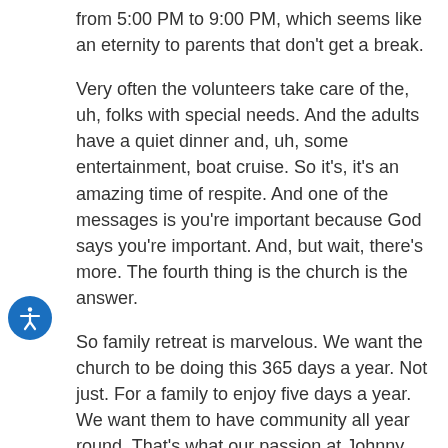from 5:00 PM to 9:00 PM, which seems like an eternity to parents that don't get a break.
Very often the volunteers take care of the, uh, folks with special needs. And the adults have a quiet dinner and, uh, some entertainment, boat cruise. So it's, it's an amazing time of respite. And one of the messages is you're important because God says you're important. And, but wait, there's more. The fourth thing is the church is the answer.
So family retreat is marvelous. We want the church to be doing this 365 days a year. Not just. For a family to enjoy five days a year. We want them to have community all year round. That's what our passion at Johnny and friends is. That's what family retreats about and who it affects.
David Hirsch: Well, thank you for the comprehensive answer.
And it's more clear to me now that the retreats are